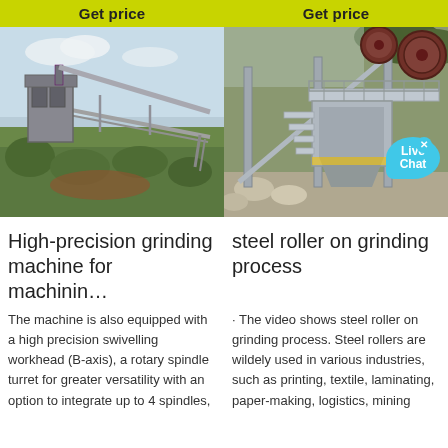Get price
Get price
[Figure (photo): Outdoor industrial grinding machine with conveyor structure against sky and vegetation background]
[Figure (photo): Steel roller grinding machine on elevated platform structure with rocks visible in background, Live Chat bubble overlay]
High-precision grinding machine for machinin…
steel roller on grinding process
The machine is also equipped with a high precision swivelling workhead (B-axis), a rotary spindle turret for greater versatility with an option to integrate up to 4 spindles,
· The video shows steel roller on grinding process. Steel rollers are wildely used in various industries, such as printing, textile, laminating, paper-making, logistics, mining